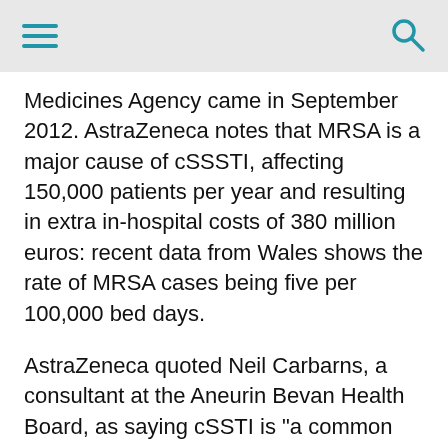Medicines Agency came in September 2012. AstraZeneca notes that MRSA is a major cause of cSSTI, affecting 150,000 patients per year and resulting in extra in-hospital costs of 380 million euros: recent data from Wales shows the rate of MRSA cases being five per 100,000 bed days.
AstraZeneca quoted Neil Carbarns, a consultant at the Aneurin Bevan Health Board, as saying cSSTI is "a common problem in hospitalised patients in Wales that have become increasingly difficult to treat, in part because of resistant infections such as MRSA". He argues that Zinforo "provides an important new treatment option that may help overcome some of the current